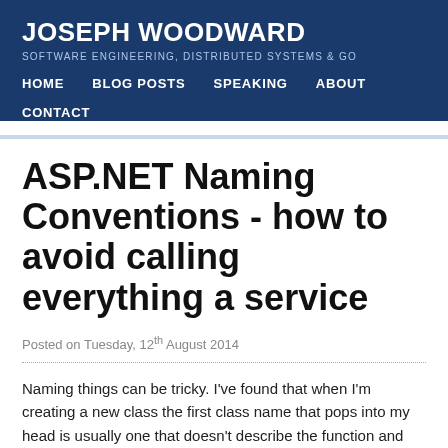JOSEPH WOODWARD
SOFTWARE ENGINEERING, DISTRIBUTED SYSTEMS & GO
HOME   BLOG POSTS   SPEAKING   ABOUT   CONTACT
ASP.NET Naming Conventions - how to avoid calling everything a service
Posted on Tuesday, 12th August 2014
Naming things can be tricky. I've found that when I'm creating a new class the first class name that pops into my head is usually one that doesn't describe the function and purpose of the class I'm creating adequately enough. It usually takes a